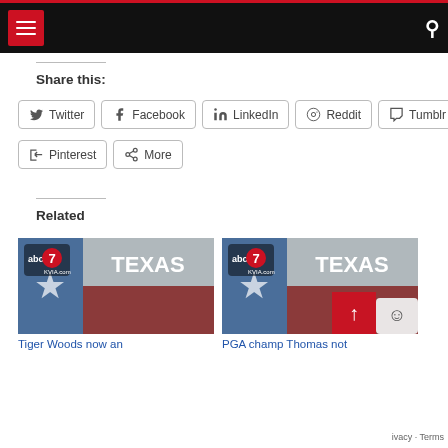ABC7 KVIA Texas news website header with menu and search
Share this:
Twitter
Facebook
LinkedIn
Reddit
Tumblr
Pinterest
More
Related
[Figure (screenshot): ABC7 KVIA Texas thumbnail image - Tiger Woods now an...]
Tiger Woods now an
[Figure (screenshot): ABC7 KVIA Texas thumbnail image - PGA champ Thomas not]
PGA champ Thomas not